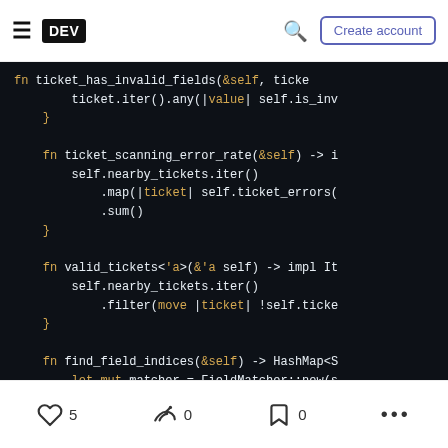DEV — Create account
[Figure (screenshot): Dark-themed code editor showing Rust code with syntax highlighting. Functions: ticket_has_invalid_fields, ticket_scanning_error_rate, valid_tickets, find_field_indices. Keywords in orange/yellow, identifiers in white on black background.]
5 likes · 0 unicorns · 0 bookmarks